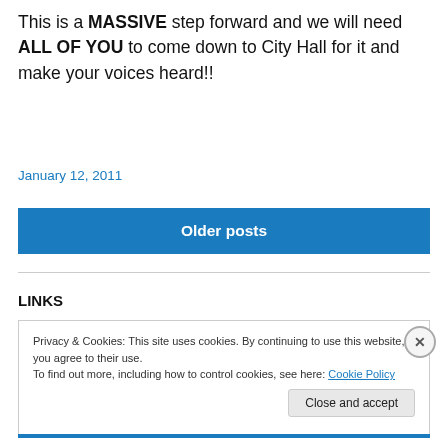This is a MASSIVE step forward and we will need ALL OF YOU to come down to City Hall for it and make your voices heard!!
January 12, 2011
Older posts
LINKS
Privacy & Cookies: This site uses cookies. By continuing to use this website, you agree to their use.
To find out more, including how to control cookies, see here: Cookie Policy
Close and accept